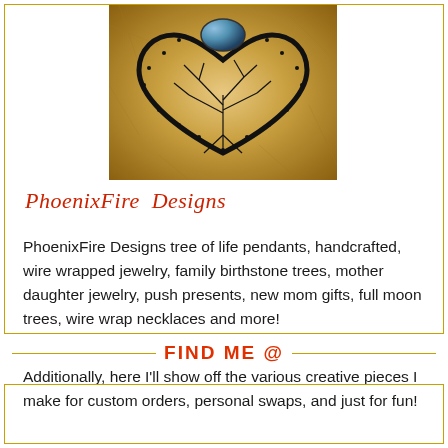[Figure (photo): Heart-shaped wire wrapped tree of life pendant with gemstones on a furry/feathery background]
PhoenixFire Designs
PhoenixFire Designs tree of life pendants, handcrafted, wire wrapped jewelry, family birthstone trees, mother daughter jewelry, push presents, new mom gifts, full moon trees, wire wrap necklaces and more!
Additionally, here I'll show off the various creative pieces I make for custom orders, personal swaps, and just for fun!
FIND ME @